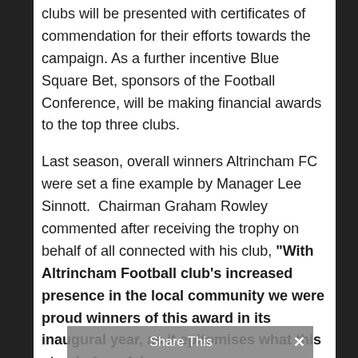clubs will be presented with certificates of commendation for their efforts towards the campaign. As a further incentive Blue Square Bet, sponsors of the Football Conference, will be making financial awards to the top three clubs.
Last season, overall winners Altrincham FC were set a fine example by Manager Lee Sinnott.  Chairman Graham Rowley commented after receiving the trophy on behalf of all connected with his club, “With Altrincham Football club’s increased presence in the local community we were proud winners of this award in its inaugural year, as it epitomises what this stands for – fair
Share This ×